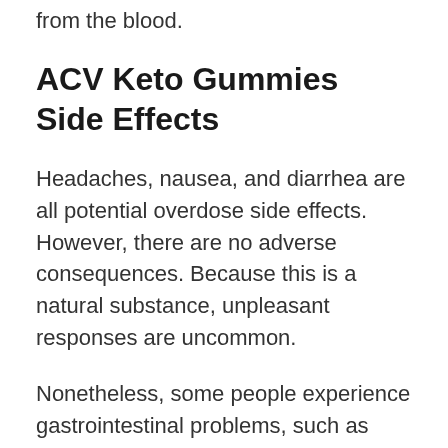from the blood.
ACV Keto Gummies Side Effects
Headaches, nausea, and diarrhea are all potential overdose side effects. However, there are no adverse consequences. Because this is a natural substance, unpleasant responses are uncommon.
Nonetheless, some people experience gastrointestinal problems, such as abdominal discomfort and diarrhea.
Apple cider vinegar may also cause